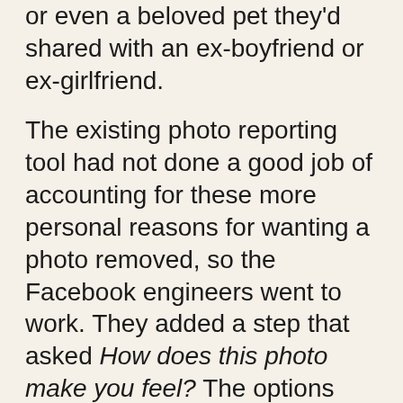or even a beloved pet they'd shared with an ex-boyfriend or ex-girlfriend.
The existing photo reporting tool had not done a good job of accounting for these more personal reasons for wanting a photo removed, so the Facebook engineers went to work. They added a step that asked How does this photo make you feel? The options were simple:
Embarrassing
Upsetting
Saddening
Bad Photo